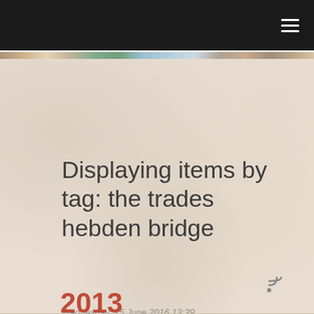[Figure (screenshot): Navigation bar with hamburger menu icon on dark background]
Displaying items by tag: the trades hebden bridge
Wednesday, 15 June 2016 13:39
2013